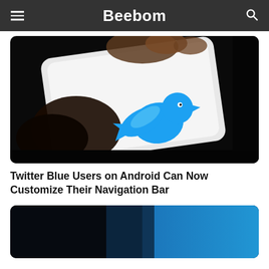Beebom
[Figure (photo): Close-up photo of a hand touching a smartphone screen displaying the Twitter (X) blue bird logo on a white background, with dark surroundings]
Twitter Blue Users on Android Can Now Customize Their Navigation Bar
[Figure (photo): Partial view of a dark background with a blue gradient element, appearing to be the top of another article image]